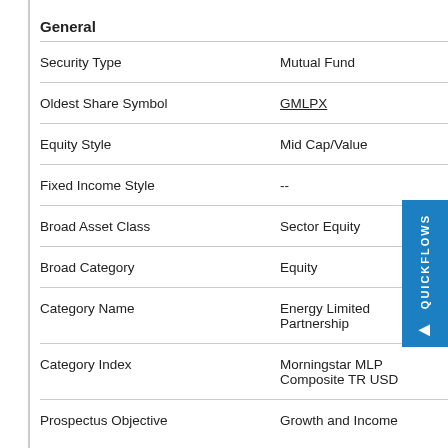General
|  |  |  |
| --- | --- | --- |
| Security Type | Mutual Fund | Alerian MLP TR |
| Oldest Share Symbol | GMLPX | Broad As... |
| Equity Style | Mid Cap/Value | ^MSWN... |
| Fixed Income Style | -- | Manage... |
| Broad Asset Class | Sector Equity | Ganesh Jois |
| Broad Category | Equity | Kyri Loupis |
| Category Name | Energy Limited Partnership | Matthew Coope... |
| Category Index | Morningstar MLP Composite TR USD |  |
| Prospectus Objective | Growth and Income |  |